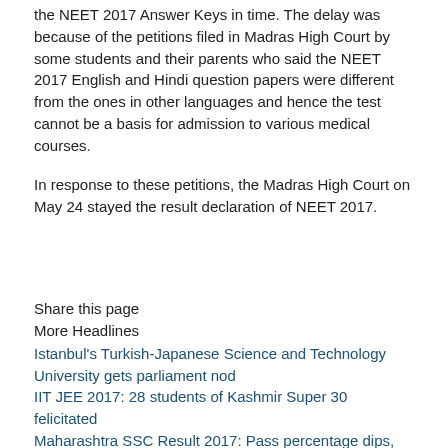the NEET 2017 Answer Keys in time. The delay was because of the petitions filed in Madras High Court by some students and their parents who said the NEET 2017 English and Hindi question papers were different from the ones in other languages and hence the test cannot be a basis for admission to various medical courses.
In response to these petitions, the Madras High Court on May 24 stayed the result declaration of NEET 2017.
Share this page
More Headlines
Istanbul's Turkish-Japanese Science and Technology University gets parliament nod
IIT JEE 2017: 28 students of Kashmir Super 30 felicitated
Maharashtra SSC Result 2017: Pass percentage dips, lowest in three years
Maharashtra SSC Class 10 result 2017: Students delighted by Sports, Arts and Culture marks
Maharashtra SSC Class 10 result 2017 declared online, Click here for simplest way to check
New drugs to prevent migraine headaches in final stage of testing
JOSAA 2017: Online registration, choice filling to start from Thursday June 15